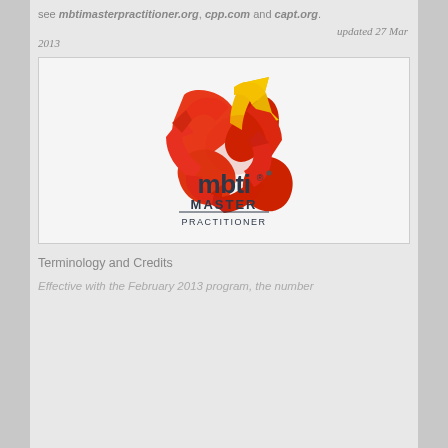see mbtimasterpractitioner.org, cpp.com and capt.org.
updated 27 Mar 2013
[Figure (logo): MBTI Master Practitioner logo with a pinwheel-style red and yellow arrow graphic above the text 'mbti MASTER PRACTITIONER']
Terminology and Credits
Effective with the February 2013 program, the number